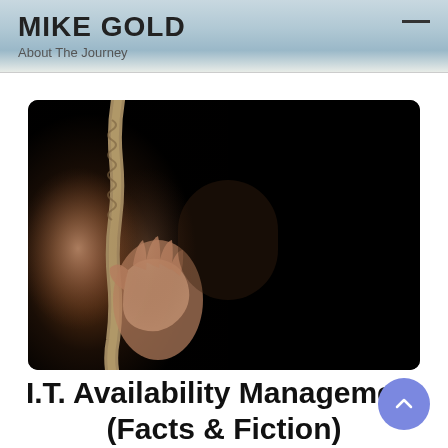MIKE GOLD
About The Journey
[Figure (photo): A dark dramatic photo showing a hand reaching up grabbing a rope, mostly dark background with warm tones on the left side.]
I.T. Availability Management (Facts & Fiction)